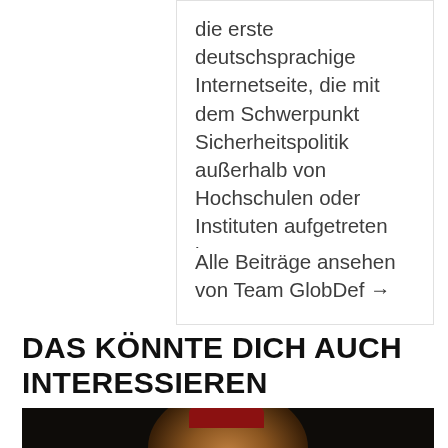die erste deutschsprachige Internetseite, die mit dem Schwerpunkt Sicherheitspolitik außerhalb von Hochschulen oder Instituten aufgetreten ist.
Alle Beiträge ansehen von Team GlobDef →
DAS KÖNNTE DICH AUCH INTERESSIEREN
[Figure (photo): Dark photo of a person wearing a red cap, partially visible against a dark background]